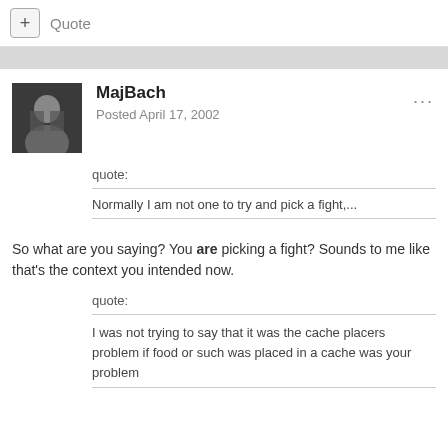+ Quote
MajBach
Posted April 17, 2002
quote:
Normally I am not one to try and pick a fight,...
So what are you saying? You are picking a fight? Sounds to me like that's the context you intended now.
quote:
I was not trying to say that it was the cache placers problem if food or such was placed in a cache was your problem